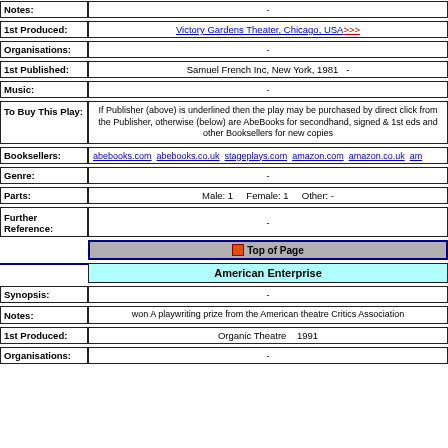| Field | Value |
| --- | --- |
| Notes: | - |
| 1st Produced: | Victory Gardens Theater, Chicago, USA >>> |
| Organisations: | - |
| 1st Published: | Samuel French Inc, New York, 1981  - |
| Music: | - |
| To Buy This Play: | If Publisher (above) is underlined then the play may be purchased by direct click from the Publisher, otherwise (below) are AbeBooks for secondhand, signed & 1st eds and other Booksellers for new copies |
| Booksellers: | abebooks.com  abebooks.co.uk  stageplays.com  amazon.com  amazon.co.uk  am |
| Genre: | - |
| Parts: | Male: 1   Female: 1   Other: - |
| Further Reference: | - |
Top of Page
American Enterprise
| Field | Value |
| --- | --- |
| Synopsis: | - |
| Notes: | won A playwriting prize from the American theatre Critics Association |
| 1st Produced: | Organic Theatre    1991 |
| Organisations: | - |